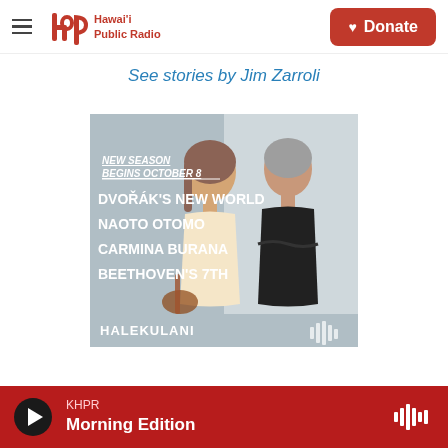[Figure (logo): Hawaii Public Radio logo with stylized 'hpr' text in red and the text 'Hawai'i Public Radio' to the right]
See stories by Jim Zarroli
[Figure (illustration): Concert advertisement: 'NEW SEASON BEGINS OCTOBER 8 / DVOŘÁK'S NEW WORLD / NAOTO OTOMO / CARMINA BURANA / BEETHOVEN'S 7TH / HALEKULANI' with two musicians - a young woman in cream dress and an older woman in black holding violin]
KHPR Morning Edition